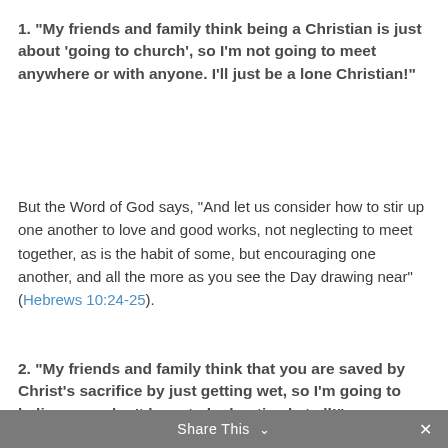1. “My friends and family think being a Christian is just about ‘going to church’, so I’m not going to meet anywhere or with anyone. I’ll just be a lone Christian!”
But the Word of God says, “And let us consider how to stir up one another to love and good works, not neglecting to meet together, as is the habit of some, but encouraging one another, and all the more as you see the Day drawing near” (Hebrews 10:24-25).
2. “My friends and family think that you are saved by Christ’s sacrifice by just getting wet, so I’m going to believe you don’t have to be baptized at all!”
But the Word of God says, “Whoever believes and is baptized will be saved, but whoever does not believe will be condemned” (Mark 16:16).
Share This ⌄  ×